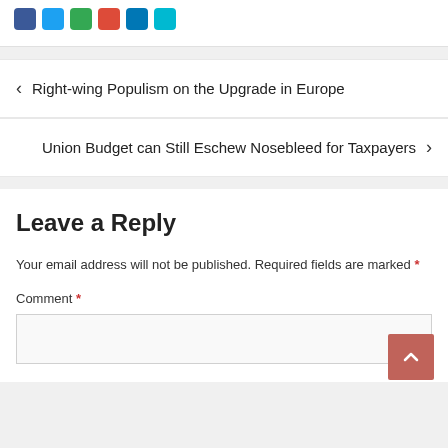[Figure (other): Social sharing icon buttons (blue, blue, green, red, blue, cyan) at top of page]
< Right-wing Populism on the Upgrade in Europe
Union Budget can Still Eschew Nosebleed for Taxpayers >
Leave a Reply
Your email address will not be published. Required fields are marked *
Comment *